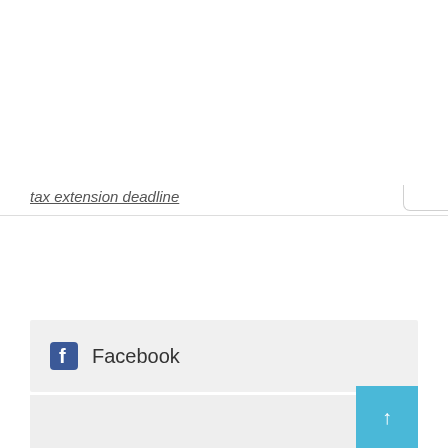tax extension deadline
[Figure (screenshot): Facebook social media widget bar with Facebook logo icon and text 'Facebook' on a light gray background]
[Figure (screenshot): Gray content area with a light blue scroll-to-top button in the bottom right corner showing an upward arrow]